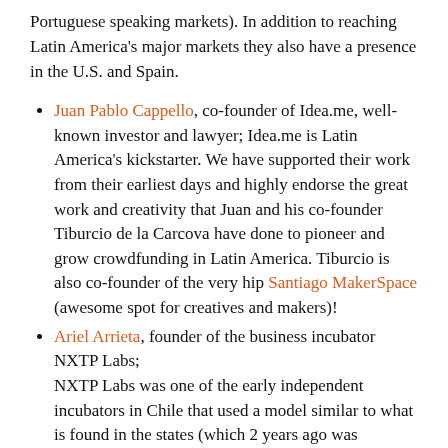Portuguese speaking markets). In addition to reaching Latin America's major markets they also have a presence in the U.S. and Spain.
Juan Pablo Cappello, co-founder of Idea.me, well-known investor and lawyer; Idea.me is Latin America's kickstarter. We have supported their work from their earliest days and highly endorse the great work and creativity that Juan and his co-founder Tiburcio de la Carcova have done to pioneer and grow crowdfunding in Latin America. Tiburcio is also co-founder of the very hip Santiago MakerSpace (awesome spot for creatives and makers)!
Ariel Arrieta, founder of the business incubator NXTP Labs; NXTP Labs was one of the early independent incubators in Chile that used a model similar to what is found in the states (which 2 years ago was virtually unheard of in LatAm). While they were founded in Argentina, they